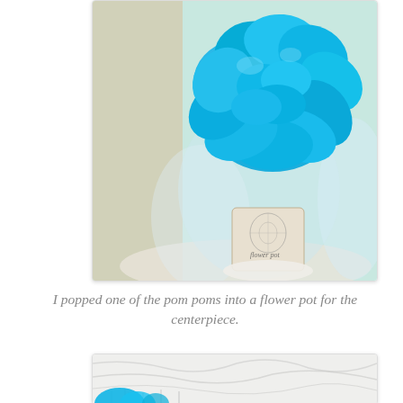[Figure (photo): Close-up photo of a bright turquoise/blue tissue paper pom pom placed in a decorative flower pot wrapped with tulle fabric and damask-patterned paper label reading 'flower pot'. The arrangement sits on a white surface.]
I popped one of the pom poms into a flower pot for the centerpiece.
[Figure (photo): Partial photo showing white tulle fabric and the base/bottom portion of a similar arrangement, with a hint of blue visible at the bottom edge.]